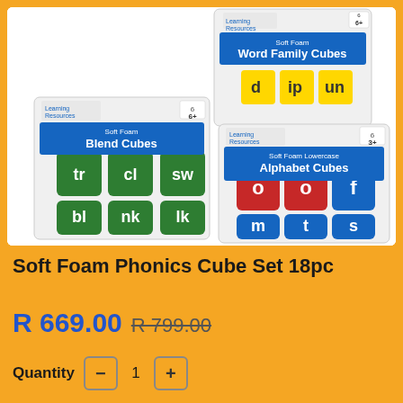[Figure (photo): Product image showing three Learning Resources Soft Foam cube sets in packaging: Blend Cubes (green cubes with white letter blends tr, cl, sw, bl, nk, lk), Word Family Cubes (yellow cubes), and Lowercase Alphabet Cubes (red and blue cubes with letters o, o, f, m, t, s)]
Soft Foam Phonics Cube Set 18pc
R 669.00 R 799.00
Quantity - 1 +